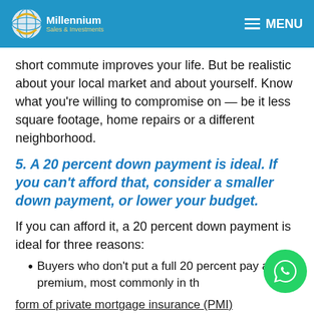Millennium Sales & Investments — MENU
short commute improves your life. But be realistic about your local market and about yourself. Know what you're willing to compromise on — be it less square footage, home repairs or a different neighborhood.
5. A 20 percent down payment is ideal. If you can't afford that, consider a smaller down payment, or lower your budget.
If you can afford it, a 20 percent down payment is ideal for three reasons:
Buyers who don't put a full 20 percent pay a premium, most commonly in the form of private mortgage insurance (PMI)